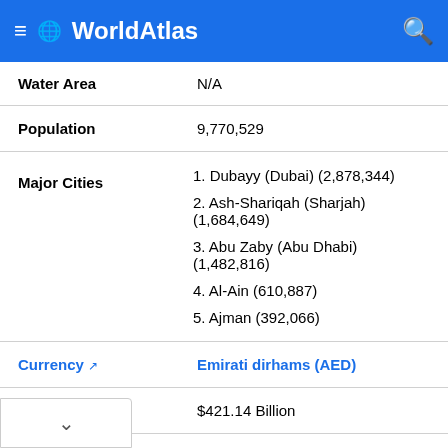WorldAtlas
| Field | Value |
| --- | --- |
| Water Area | N/A |
| Population | 9,770,529 |
| Major Cities | 1. Dubayy (Dubai) (2,878,344)
2. Ash-Shariqah (Sharjah) (1,684,649)
3. Abu Zaby (Abu Dhabi) (1,482,816)
4. Al-Ain (610,887)
5. Ajman (392,066) |
| Currency | Emirati dirhams (AED) |
| GDP | $421.14 Billion |
| GDP Per Capita | $43,103.32 |